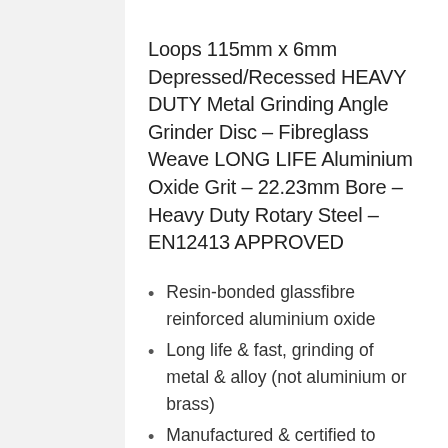Loops 115mm x 6mm Depressed/Recessed HEAVY DUTY Metal Grinding Angle Grinder Disc – Fibreglass Weave LONG LIFE Aluminium Oxide Grit – 22.23mm Bore – Heavy Duty Rotary Steel – EN12413 APPROVED
Resin-bonded glassfibre reinforced aluminium oxide
Long life & fast, grinding of metal & alloy (not aluminium or brass)
Manufactured & certified to EN12413 with MPA